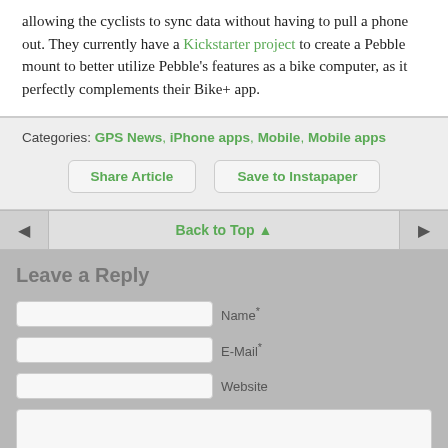allowing the cyclists to sync data without having to pull a phone out. They currently have a Kickstarter project to create a Pebble mount to better utilize Pebble's features as a bike computer, as it perfectly complements their Bike+ app.
Categories: GPS News, iPhone apps, Mobile, Mobile apps
Share Article
Save to Instapaper
Back to Top
Leave a Reply
Name*
E-Mail*
Website